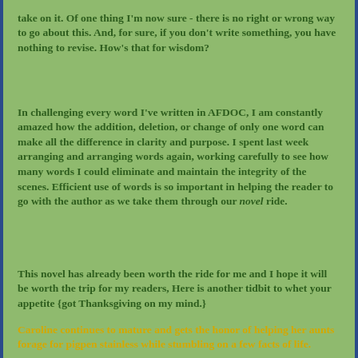take on it.  Of one thing I'm now sure - there is no right or wrong way to go about this.  And, for sure, if you don't write something, you have nothing to revise.  How's that for wisdom?
In challenging every word I've written in AFDOC, I am constantly amazed how the addition, deletion, or change of only one word can make all the difference in clarity and purpose.  I spent last week arranging and arranging words again, working carefully to see how many words I could eliminate and maintain the integrity of the scenes.  Efficient use of words is so important in helping the reader to go with the author as we take them through our novel ride.
This novel has already been worth the ride for me and I hope it will be worth the trip for my readers,  Here is another tidbit to whet your appetite {got Thanksgiving on my mind.}
Caroline continues to mature and gets the honor of helping her aunts forage for pigpen stainless while stumbling on a few facts of life.